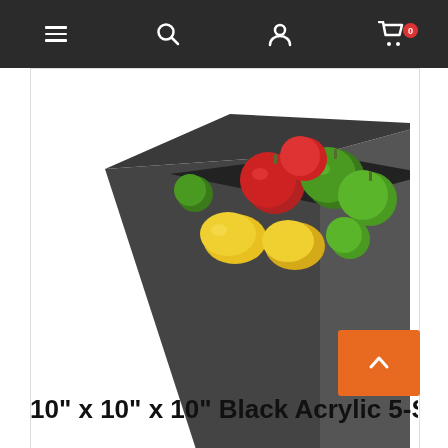Navigation bar with menu, search, account, and cart (0 items) icons
[Figure (photo): A black acrylic 5-sided open-top box filled with various colorful fruits including red apples, green apples, and yellow lemons/citrus fruits, viewed from an angle on a white background.]
[Figure (photo): Thumbnail image of the same black acrylic box with fruits inside, smaller version showing a front-angled view.]
10" x 10" x 10" Black Acrylic 5-Sided